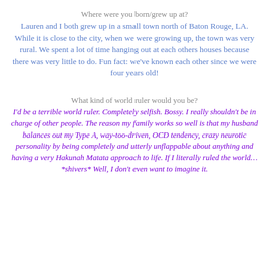Where were you born/grew up at?
Lauren and I both grew up in a small town north of Baton Rouge, LA. While it is close to the city, when we were growing up, the town was very rural. We spent a lot of time hanging out at each others houses because there was very little to do. Fun fact: we’ve known each other since we were four years old!
What kind of world ruler would you be?
I’d be a terrible world ruler. Completely selfish. Bossy. I really shouldn’t be in charge of other people. The reason my family works so well is that my husband balances out my Type A, way-too-driven, OCD tendency, crazy neurotic personality by being completely and utterly unflappable about anything and having a very Hakunah Matata approach to life. If I literally ruled the world… *shivers* Well, I don’t even want to imagine it.